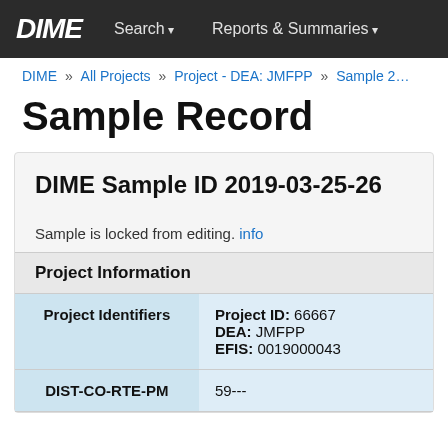DIME  Search ▾  Reports & Summaries ▾
DIME » All Projects » Project - DEA: JMFPP » Sample 2…
Sample Record
DIME Sample ID 2019-03-25-26
Sample is locked from editing. info
Project Information
| Project Identifiers |  |
| --- | --- |
| Project Identifiers | Project ID: 66667
DEA: JMFPP
EFIS: 0019000043 |
| DIST-CO-RTE-PM | 59--- |